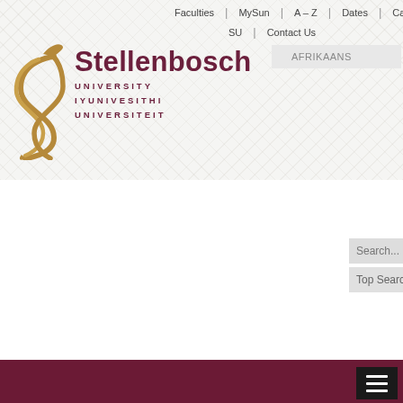Faculties | MySun | A–Z | Dates | Careers | SU | Contact Us
[Figure (logo): Stellenbosch University logo with golden stylized S mark and university name in maroon: Stellenbosch UNIVERSITY IYUNIVESITHI UNIVERSITEIT]
[Figure (screenshot): AFRIKAANS language selector button, search bar with search icon, and Top Searches dropdown]
[Figure (photo): Dark maroon navigation bar with hamburger menu button on the right]
[Figure (photo): Two photos of men side by side: left photo shows a young smiling man with beard against green background, right photo partially visible shows another man in front of historic stone building]
'Extraordinary academic' receives Schumann medal